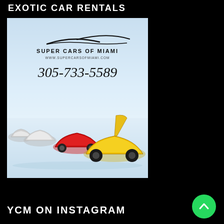EXOTIC CAR RENTALS
[Figure (photo): Super Cars of Miami advertisement showing a yellow Lamborghini with scissor doors open, a red sports car, and two white sports cars lined up on a white surface. Text reads: SUPER CARS OF MIAMI, www.supercarsofmiami.com, 305-733-5589]
YCM ON INSTAGRAM